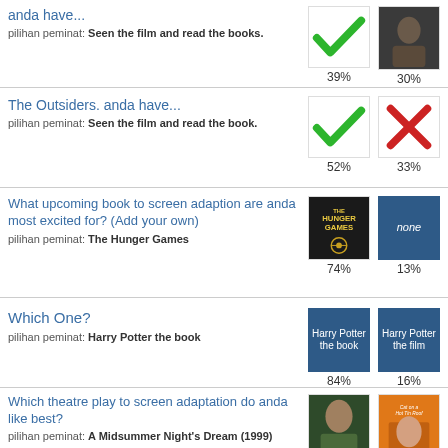anda have... pilihan peminat: Seen the film and read the books. — 39% / 30%
The Outsiders. anda have... pilihan peminat: Seen the film and read the book. — 52% / 33%
What upcoming book to screen adaption are anda most excited for? (Add your own) pilihan peminat: The Hunger Games — 74% / 13%
Which One? pilihan peminat: Harry Potter the book — 84% / 16%
Which theatre play to screen adaptation do anda like best? pilihan peminat: A Midsummer Night's Dream (1999) — 30% / 10%